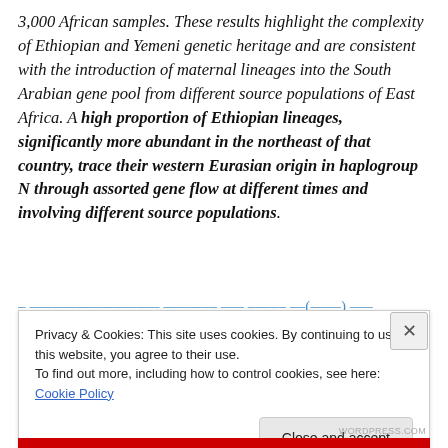3,000 African samples. These results highlight the complexity of Ethiopian and Yemeni genetic heritage and are consistent with the introduction of maternal lineages into the South Arabian gene pool from different source populations of East Africa. A high proportion of Ethiopian lineages, significantly more abundant in the northeast of that country, trace their western Eurasian origin in haplogroup N through assorted gene flow at different times and involving different source populations.
[truncated citation line partially visible]
Privacy & Cookies: This site uses cookies. By continuing to use this website, you agree to their use.
To find out more, including how to control cookies, see here: Cookie Policy